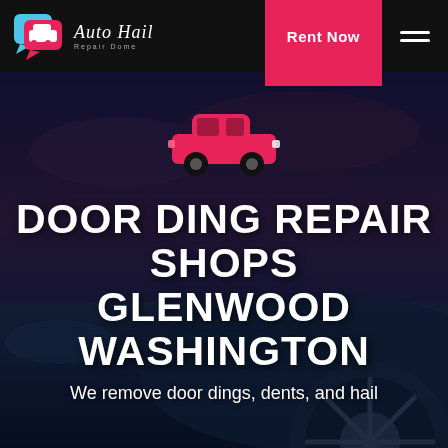[Figure (logo): Auto Hail Repair Dome logo with chat bubble car icon and stylized italic text]
Rent Now
[Figure (photo): Dark moody hero background showing a car hood/wheel with dramatic cloudy sky overlay, tinted dark blue]
[Figure (illustration): Red car icon (simplified side-view car silhouette) centered in hero section]
DOOR DING REPAIR SHOPS GLENWOOD WASHINGTON
We remove door dings, dents, and hail